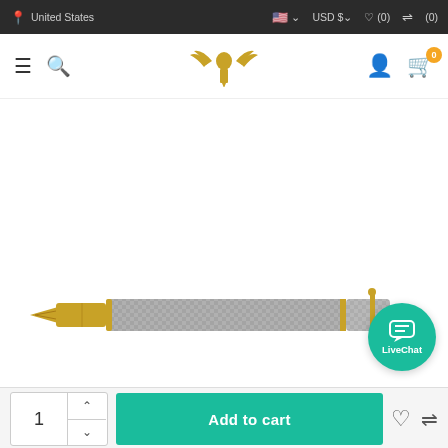United States | USD $ | ♡ (0) | ⇌ (0)
[Figure (logo): Exclusive Pen store logo with golden eagle wings and pen icon]
[Figure (photo): Parker fountain pen with silver checkered pattern body and gold nib and trim, shown horizontally]
[Figure (other): LiveChat button - teal circular button with chat icon and LiveChat text]
1
Add to cart